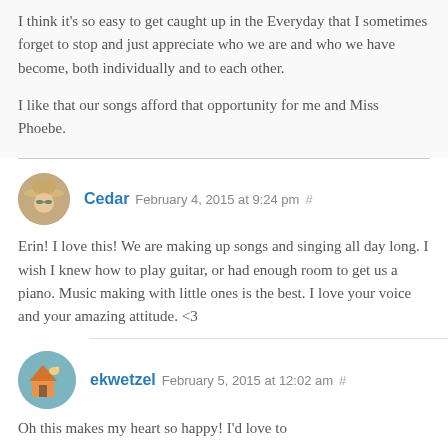I think it's so easy to get caught up in the Everyday that I sometimes forget to stop and just appreciate who we are and who we have become, both individually and to each other.
I like that our songs afford that opportunity for me and Miss Phoebe.
Cedar  February 4, 2015 at 9:24 pm  #
Erin! I love this! We are making up songs and singing all day long. I wish I knew how to play guitar, or had enough room to get us a piano. Music making with little ones is the best. I love your voice and your amazing attitude. <3
ekwetzel  February 5, 2015 at 12:02 am  #
Oh this makes my heart so happy! I'd love to